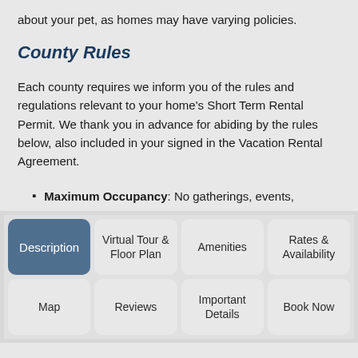about your pet, as homes may have varying policies.
County Rules
Each county requires we inform you of the rules and regulations relevant to your home's Short Term Rental Permit. We thank you in advance for abiding by the rules below, also included in your signed in the Vacation Rental Agreement.
Maximum Occupancy: No gatherings, events,
| Description | Virtual Tour & Floor Plan | Amenities | Rates & Availability | Map | Reviews | Important Details | Book Now |
| --- | --- | --- | --- | --- | --- | --- | --- |